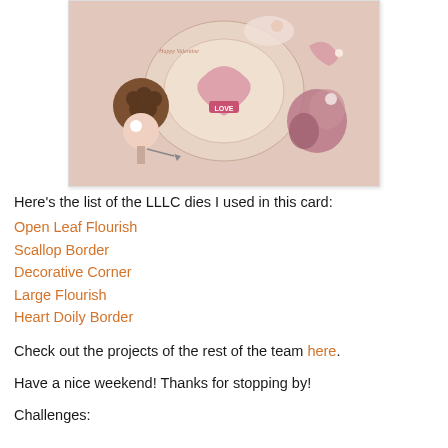[Figure (photo): A crafted Valentine's card with pink and mauve tones, featuring a cherub/cupid illustration, a heart doily, flower embellishments, and a 'LOVE' tag, decorated with various die-cut elements.]
Here's the list of the LLLC dies I used in this card:
Open Leaf Flourish
Scallop Border
Decorative Corner
Large Flourish
Heart Doily Border
Check out the projects of the rest of the team here.
Have a nice weekend! Thanks for stopping by!
Challenges: